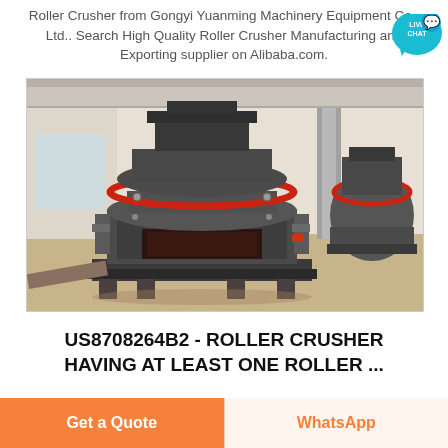Roller Crusher from Gongyi Yuanming Machinery Equipment Co., Ltd.. Search High Quality Roller Crusher Manufacturing and Exporting supplier on Alibaba.com.
[Figure (photo): Industrial roller crusher / cone crusher machine (dark gray with red accent ring) on a pallet in a warehouse facility, with a second smaller machine visible in background]
US8708264B2 - ROLLER CRUSHER HAVING AT LEAST ONE ROLLER ...
Get a Quote
WhatsApp